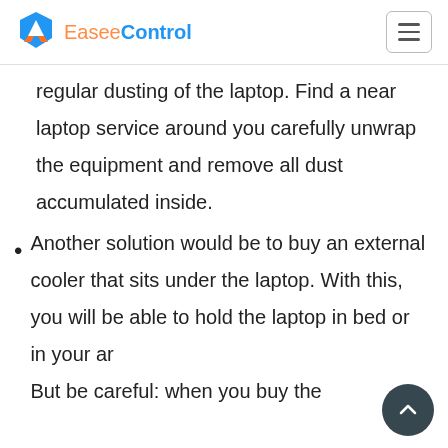Easee Control
regular dusting of the laptop. Find a near laptop service around you carefully unwrap the equipment and remove all dust accumulated inside.
Another solution would be to buy an external cooler that sits under the laptop. With this, you will be able to hold the laptop in bed or in your ar But be careful: when you buy the